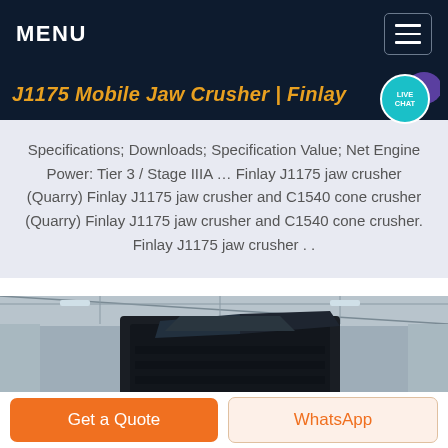MENU
J1175 Mobile Jaw Crusher | Finlay
Specifications; Downloads; Specification Value; Net Engine Power: Tier 3 / Stage IIIA … Finlay J1175 jaw crusher (Quarry) Finlay J1175 jaw crusher and C1540 cone crusher (Quarry) Finlay J1175 jaw crusher and C1540 cone crusher. Finlay J1175 jaw crusher . .
[Figure (photo): Industrial photo of a jaw crusher machine inside a warehouse/facility, showing heavy black machinery components in an industrial building with metal roof structure visible in background.]
Get a Quote
WhatsApp